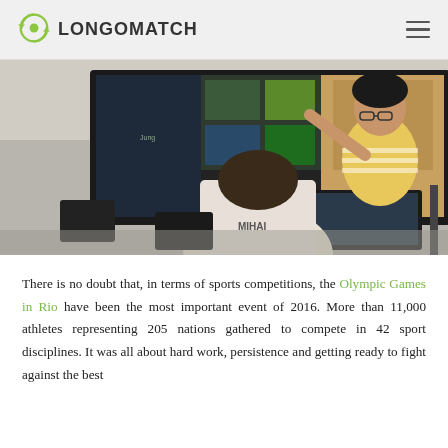LONGOMATCH
[Figure (photo): Two people looking at a large monitor showing sports analysis software (LongoMatch), one person (wearing a jersey with MIHAI on back) seated at a desk, another person in a yellow striped shirt pointing at the screen.]
There is no doubt that, in terms of sports competitions, the Olympic Games in Rio have been the most important event of 2016. More than 11,000 athletes representing 205 nations gathered to compete in 42 sport disciplines. It was all about hard work, persistence and getting ready to fight against the best